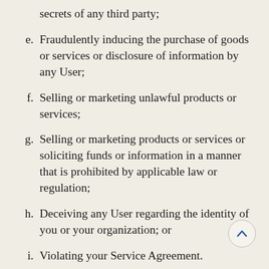secrets of any third party;
e. Fraudulently inducing the purchase of goods or services or disclosure of information by any User;
f. Selling or marketing unlawful products or services;
g. Selling or marketing products or services or soliciting funds or information in a manner that is prohibited by applicable law or regulation;
h. Deceiving any User regarding the identity of you or your organization; or
i. Violating your Service Agreement.